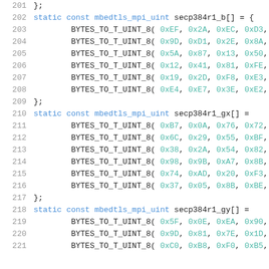Code listing showing C static const array declarations for secp384r1 elliptic curve parameters (b, gx, gy) using BYTES_TO_T_UINT_8 macros with hexadecimal values, lines 201-221.